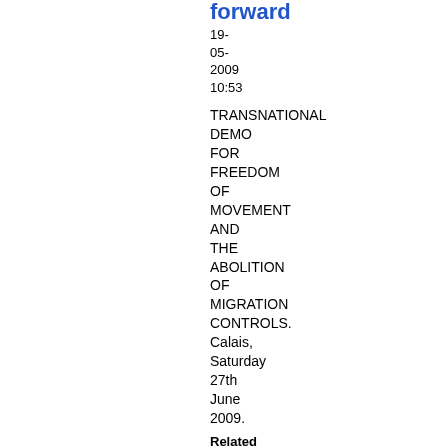forward
19-
05-
2009
10:53
TRANSNATIONAL DEMO FOR FREEDOM OF MOVEMENT AND THE ABOLITION OF MIGRATION CONTROLS. Calais, Saturday 27th June 2009.
Related Categories
|
Globalisation
|
Migration
|
Repression